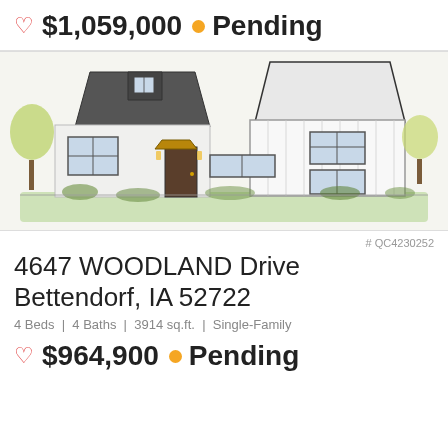♡ $1,059,000 • Pending
[Figure (illustration): Architectural rendering/sketch of a modern farmhouse with dark roof gable on left, white board-and-batten siding on right, front door with wood canopy, landscaping with shrubs and trees]
# QC4230252
4647 WOODLAND Drive
Bettendorf, IA 52722
4 Beds | 4 Baths | 3914 sq.ft. | Single-Family
♡ $964,900 • Pending